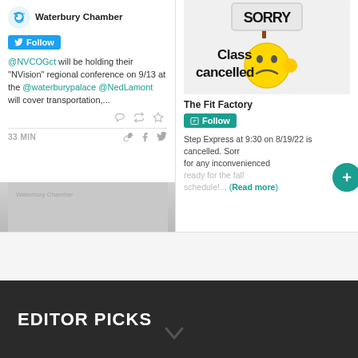[Figure (screenshot): Waterbury Chamber Twitter card with Follow button and tweet mentioning @NVCOGct conference at @waterburypalace, @NedLamont transport. Social action icons, 33 MIN timestamp, share icons.]
[Figure (screenshot): The Fit Factory social media card with 'Class cancelled' sad face image, Follow button, and post about Step Express 9:30 8/19/22 cancellation with Read more link. Green plus button overlaid.]
EDITOR PICKS